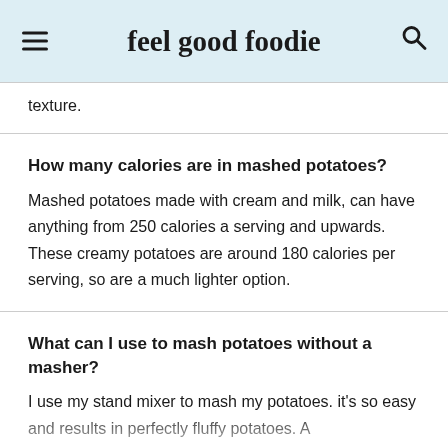feel good foodie
texture.
How many calories are in mashed potatoes?
Mashed potatoes made with cream and milk, can have anything from 250 calories a serving and upwards. These creamy potatoes are around 180 calories per serving, so are a much lighter option.
What can I use to mash potatoes without a masher?
I use my stand mixer to mash my potatoes. it's so easy and results in perfectly fluffy potatoes. A